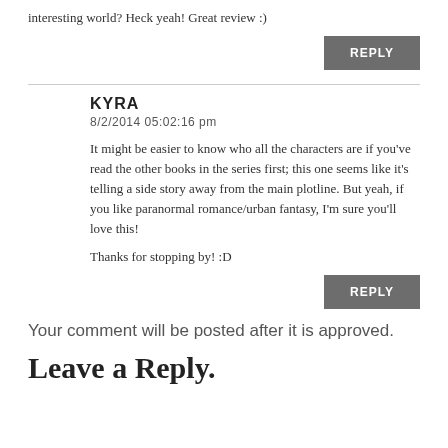interesting world? Heck yeah! Great review :)
REPLY
KYRA
8/2/2014 05:02:16 pm
It might be easier to know who all the characters are if you've read the other books in the series first; this one seems like it's telling a side story away from the main plotline. But yeah, if you like paranormal romance/urban fantasy, I'm sure you'll love this!
Thanks for stopping by! :D
REPLY
Your comment will be posted after it is approved.
Leave a Reply.